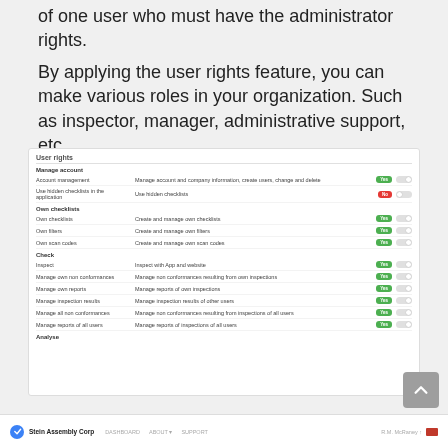of one user who must have the administrator rights.
By applying the user rights feature, you can make various roles in your organization. Such as inspector, manager, administrative support, etc.
[Figure (screenshot): Screenshot of a 'User rights' settings panel showing toggles for various permissions including Manage account, Account management, Use hidden checklists, Own checklists, Own checklists (item), Own filters, Own scan codes, Check, Inspect, Manage own non conformances, Manage own reports, Manage inspection results, Manage all non conformances, Manage reports of all users, and Analyse. Each row has Yes/No toggle buttons.]
[Figure (screenshot): Bottom navigation bar of a web application showing a logo, company name 'Stein Assembly Corp', navigation links (DASHBOARD, ABOUT, SUPPORT), and user info on the right.]